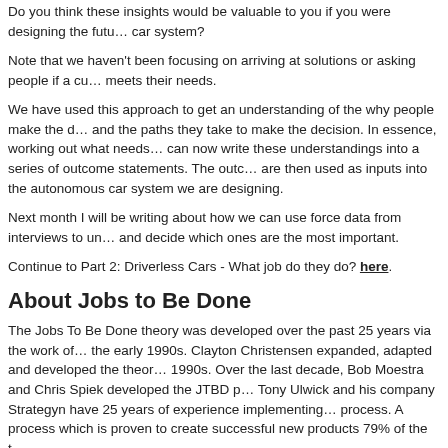Do you think these insights would be valuable to you if you were designing the future car system?
Note that we haven't been focusing on arriving at solutions or asking people if a current product meets their needs.
We have used this approach to get an understanding of the why people make the decisions and the paths they take to make the decision. In essence, working out what needs are. We can now write these understandings into a series of outcome statements. The outcome statements are then used as inputs into the autonomous car system we are designing.
Next month I will be writing about how we can use force data from interviews to understand and decide which ones are the most important.
Continue to Part 2: Driverless Cars - What job do they do? here.
About Jobs to Be Done
The Jobs To Be Done theory was developed over the past 25 years via the work of many in the early 1990s. Clayton Christensen expanded, adapted and developed the theory in the early 1990s. Over the last decade, Bob Moestra and Chris Spiek developed the JTBD process. Tony Ulwick and his company Strategyn have 25 years of experience implementing the JTBD process. A process which is proven to create successful new products 79% of the time.
Shoot me an email at m.bayly@bayly.com.au and I'll send you a list of useful references.
If you would like some specific advice about how to apply JTBD techniques to your business, give Bayly a call here in Melbourne on +61 3 9413 9000 or send us an email at